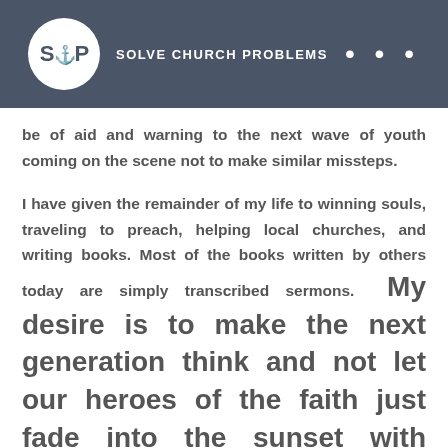[Figure (logo): SCP Solve Church Problems logo with circular emblem and text, on dark grey header bar with three dots]
be of aid and warning to the next wave of youth coming on the scene not to make similar missteps.
I have given the remainder of my life to winning souls, traveling to preach, helping local churches, and writing books. Most of the books written by others today are simply transcribed sermons. My desire is to make the next generation think and not let our heroes of the faith just fade into the sunset with internet